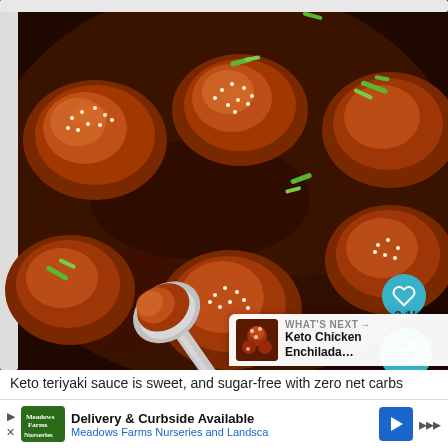[Figure (photo): Close-up of keto teriyaki chicken thighs in a baking dish, glazed with a dark brown teriyaki sauce, topped with sesame seeds and sliced green onions. A silver spoon is lifting one chicken piece. UI overlays include a teal heart button, a share button with '2.1K' count, and a 'What's Next' panel for 'Keto Chicken Enchilada...']
Keto teriyaki sauce is sweet, and sugar-free with zero net carbs
[Figure (infographic): Advertisement banner: 'Delivery & Curbside Available — Meadows Farms Nurseries and Landscape' with green logo, blue navigation arrow icon, and mute icon on right.]